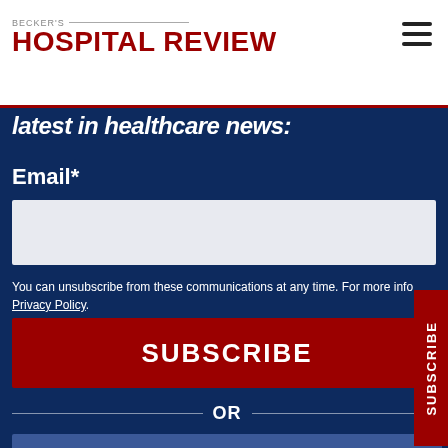BECKER'S HOSPITAL REVIEW
latest in healthcare news:
Email*
You can unsubscribe from these communications at any time. For more info, Privacy Policy.
SUBSCRIBE
OR
Register with Facebook
Register with LinkedIn
Invite a Friend